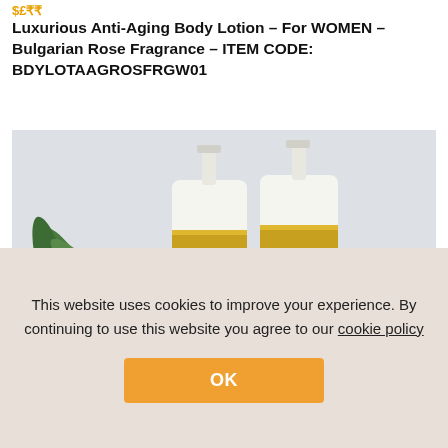$£₹₹
Luxurious Anti-Aging Body Lotion - For WOMEN - Bulgarian Rose Fragrance - ITEM CODE: BDYLOTAAGROSFRGW01
[Figure (photo): Two white and gold pump bottles of luxury body lotion, labeled 'FOR WOMEN', placed on a light gray surface with a green plant on the left side.]
This website uses cookies to improve your experience. By continuing to use this website you agree to our cookie policy
OK